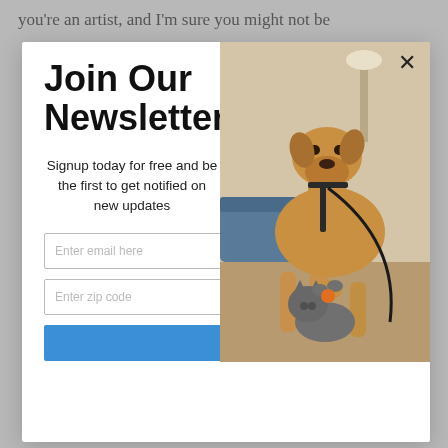you're an artist, and I'm sure you might not be
[Figure (screenshot): Newsletter signup modal popup with a dog and cat photo on the right side. The modal contains a title 'Join Our Newsletter', subtitle text, two input fields for email and zip code, and a blue submit button.]
Join Our Newsletter
Signup today for free and be the first to get notified on new updates